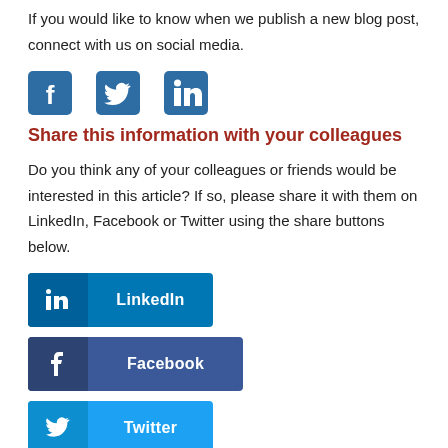If you would like to know when we publish a new blog post, connect with us on social media.
[Figure (illustration): Social media icons: Facebook, Twitter, LinkedIn]
Share this information with your colleagues
Do you think any of your colleagues or friends would be interested in this article? If so, please share it with them on LinkedIn, Facebook or Twitter using the share buttons below.
[Figure (other): Social share buttons: LinkedIn, Facebook, Twitter]